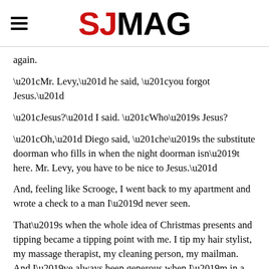SJMAG
again.
“Mr. Levy,” he said, “you forgot Jesus.”
“Jesus?” I said. “Who’s Jesus?
“Oh,” Diego said, “he’s the substitute doorman who fills in when the night doorman isn’t here. Mr. Levy, you have to be nice to Jesus.”
And, feeling like Scrooge, I went back to my apartment and wrote a check to a man I’d never seen.
That’s when the whole idea of Christmas presents and tipping became a tipping point with me. I tip my hair stylist, my massage therapist, my cleaning person, my mailman. And I’ve always been generous when I’m in a